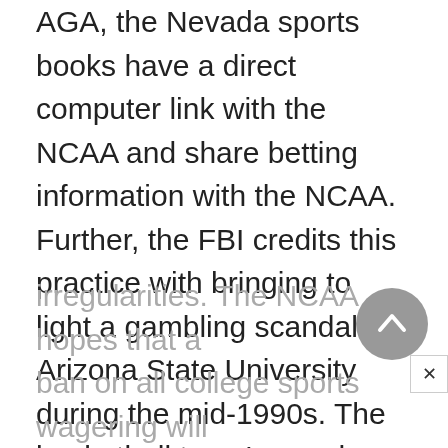AGA, the Nevada sports books have a direct computer link with the NCAA and share betting information with the NCAA. Further, the FBI credits this practice with bringing to light a gambling scandal at Arizona State University during the mid-1990s. The basketball team's coach was notified about a possible problem after Nevada sports books alerted the Pac-10 conference and the FBI about betting
irregularities. The NCAA hopes that a ban on all college sports wagering will